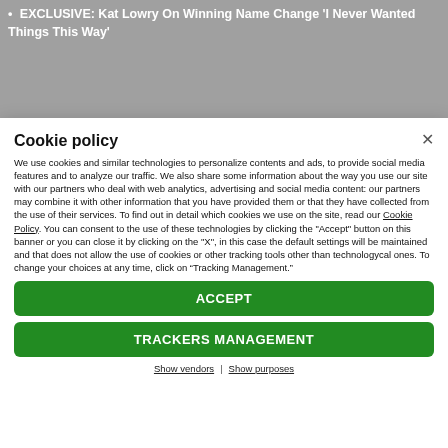EXCLUSIVE: Kat Lowry On Winning Name Change 'I Never Wanted Things This Way'
Cookie policy
We use cookies and similar technologies to personalize contents and ads, to provide social media features and to analyze our traffic. We also share some information about the way you use our site with our partners who deal with web analytics, advertising and social media content: our partners may combine it with other information that you have provided them or that they have collected from the use of their services. To find out in detail which cookies we use on the site, read our Cookie Policy. You can consent to the use of these technologies by clicking the "Accept" button on this banner or you can close it by clicking on the "X", in this case the default settings will be maintained and that does not allow the use of cookies or other tracking tools other than technologycal ones. To change your choices at any time, click on “Tracking Management.”
ACCEPT
TRACKERS MANAGEMENT
Show vendors | Show purposes